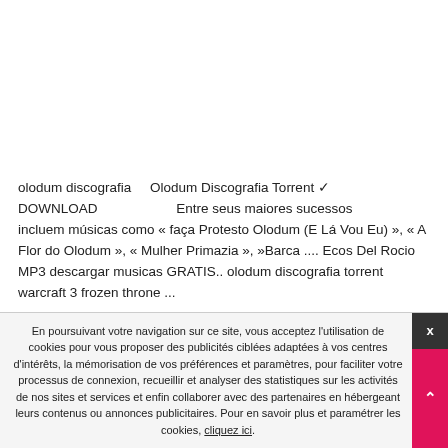olodum discografia    Olodum Discografia Torrent ✓ DOWNLOAD                          Entre seus maiores sucessos incluem músicas como « faça Protesto Olodum (E Lá Vou Eu) », « A Flor do Olodum », « Mulher Primazia »,  »Barca .... Ecos Del Rocio MP3 descargar musicas GRATIS.. olodum discografia torrent warcraft 3 frozen throne ...
En poursuivant votre navigation sur ce site, vous acceptez l'utilisation de cookies pour vous proposer des publicités ciblées adaptées à vos centres d'intérêts, la mémorisation de vos préférences et paramètres, pour faciliter votre processus de connexion, recueillir et analyser des statistiques sur les activités de nos sites et services et enfin collaborer avec des partenaires en hébergeant leurs contenus ou annonces publicitaires. Pour en savoir plus et paramétrer les cookies, cliquez ici.